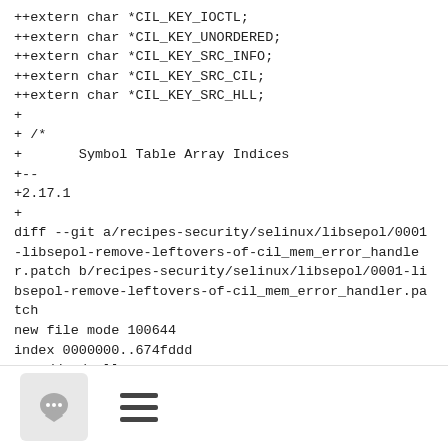++extern char *CIL_KEY_IOCTL;
++extern char *CIL_KEY_UNORDERED;
++extern char *CIL_KEY_SRC_INFO;
++extern char *CIL_KEY_SRC_CIL;
++extern char *CIL_KEY_SRC_HLL;
+
+ /*
+       Symbol Table Array Indices
+--
+2.17.1
+
diff --git a/recipes-security/selinux/libsepol/0001-libsepol-remove-leftovers-of-cil_mem_error_handler.patch b/recipes-security/selinux/libsepol/0001-libsepol-remove-leftovers-of-cil_mem_error_handler.patch
new file mode 100644
index 0000000..674fddd
--- /dev/null
+++ b/recipes-security/selinux/libsepol/0001-libsepol-remove-
[Figure (other): Bottom toolbar with a chat/comment button (speech bubble icon) and a hamburger menu icon]